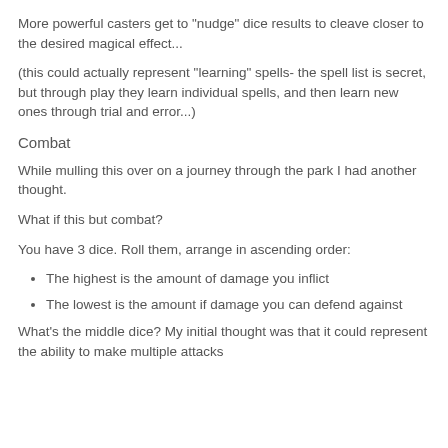More powerful casters get to "nudge" dice results to cleave closer to the desired magical effect...
(this could actually represent "learning" spells- the spell list is secret, but through play they learn individual spells, and then learn new ones through trial and error...)
Combat
While mulling this over on a journey through the park I had another thought.
What if this but combat?
You have 3 dice. Roll them, arrange in ascending order:
The highest is the amount of damage you inflict
The lowest is the amount if damage you can defend against
What's the middle dice? My initial thought was that it could represent the ability to make multiple attacks